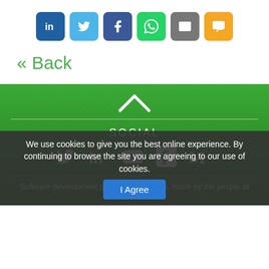[Figure (infographic): Row of six social share buttons: LinkedIn (dark blue), Twitter (light blue), Facebook (dark blue), WhatsApp (green), Email (grey), SMS (orange)]
« Back
[Figure (infographic): Green footer section with upward chevron arrow, horizontal divider, SOCIAL heading, social media icons (Twitter, LinkedIn, YouTube, Facebook, Medium), second divider, and partial text 'Software development guides and tutorials, made by the people at']
We use cookies to give you the best online experience. By continuing to browse the site you are agreeing to our use of cookies.
I Agree